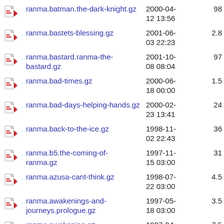ranma.batman.the-dark-knight.gz  2000-04-12 13:56  98
ranma.bastets-blessing.gz  2001-06-03 22:23  2.8
ranma.bastard.ranma-the-bastard.gz  2001-10-08 08:04  97
ranma.bad-times.gz  2000-06-18 00:00  1.5
ranma.bad-days-helping-hands.gz  2000-02-23 13:41  24
ranma.back-to-the-ice.gz  1998-11-02 22:43  36
ranma.b5.the-coming-of-ranma.gz  1997-11-15 03:00  31
ranma.azusa-cant-think.gz  1998-07-22 03:00  4.5
ranma.awakenings-and-journeys.prologue.gz  1997-05-18 03:00  3.5
ranma.awakening.gz  1997-04-16 14:40  7.5
ranma.autumn-and-spring.gz  1998-01-20 15:05  68
ranma.attractiveness-factor.gz  1996-09-19 14:45  9.5